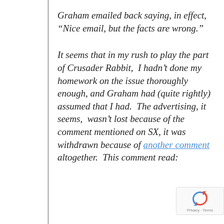Graham emailed back saying, in effect, “Nice email, but the facts are wrong.”
It seems that in my rush to play the part of Crusader Rabbit, I hadn’t done my homework on the issue thoroughly enough, and Graham had (quite rightly) assumed that I had. The advertising, it seems, wasn’t lost because of the comment mentioned on SX, it was withdrawn because of another comment altogether. This comment read: